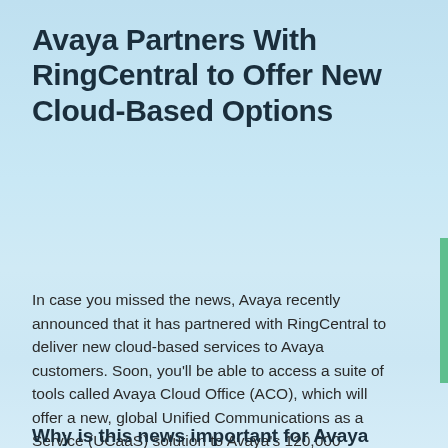Avaya Partners With RingCentral to Offer New Cloud-Based Options
In case you missed the news, Avaya recently announced that it has partnered with RingCentral to deliver new cloud-based services to Avaya customers. Soon, you'll be able to access a suite of tools called Avaya Cloud Office (ACO), which will offer a new, global Unified Communications as a Service (UCaaS) solution to Avaya's 120,000 customers across the globe.
Why is this news important for Avaya